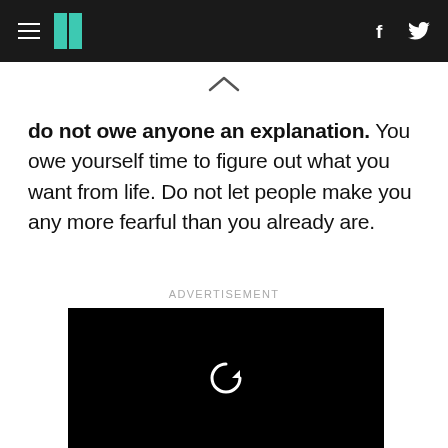HuffPost navigation with hamburger menu, logo, Facebook and Twitter icons
do not owe anyone an explanation. You owe yourself time to figure out what you want from life. Do not let people make you any more fearful than you already are.
ADVERTISEMENT
[Figure (screenshot): Black video player rectangle with a white replay/refresh circular arrow icon in the center]